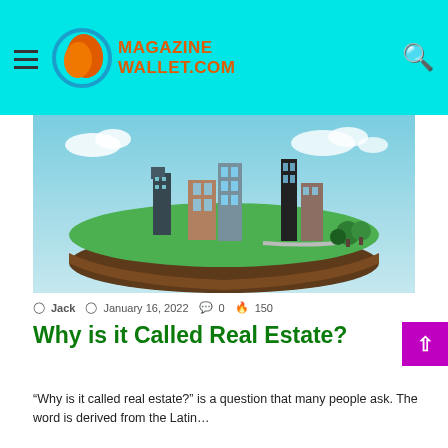MAGAZINEWALLET.COM
[Figure (illustration): 3D rendered model of a floating island with green grass, soil cross-section, and modern buildings/skyscrapers on top, with clouds in a blue sky background]
Jack  January 16, 2022  0  150
Why is it Called Real Estate?
“Why is it called real estate?” is a question that many people ask. The word is derived from the Latin…